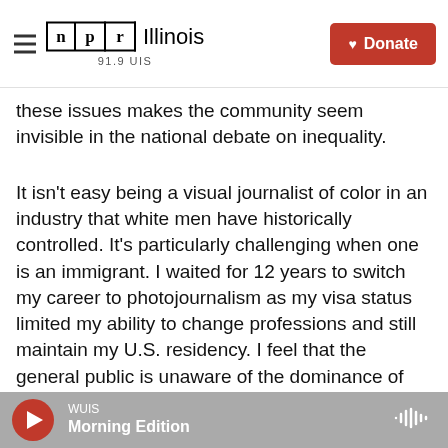NPR Illinois 91.9 UIS | Donate
these issues makes the community seem invisible in the national debate on inequality.
It isn't easy being a visual journalist of color in an industry that white men have historically controlled. It's particularly challenging when one is an immigrant. I waited for 12 years to switch my career to photojournalism as my visa status limited my ability to change professions and still maintain my U.S. residency. I feel that the general public is unaware of the dominance of white visuality. But, finally, photojournalism is having its moment of reckoning about diversity, inclusion, and myriad
WUIS | Morning Edition